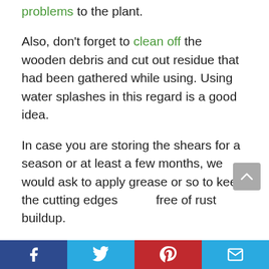problems to the plant.
Also, don't forget to clean off the wooden debris and cut out residue that had been gathered while using. Using water splashes in this regard is a good idea.
In case you are storing the shears for a season or at least a few months, we would ask to apply grease or so to keep the cutting edges free of rust buildup.
Tips While You're Using A
Facebook Twitter Pinterest Email